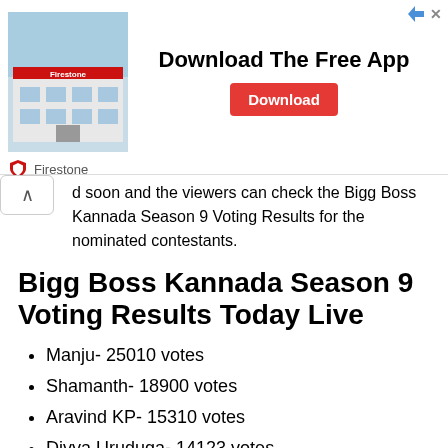[Figure (screenshot): Advertisement banner for Firestone app download. Shows a Firestone store building image on the left, bold text 'Download The Free App' in the center, and a red 'Download' button on the right. Firestone shield logo and brand name shown below.]
d soon and the viewers can check the Bigg Boss Kannada Season 9 Voting Results for the nominated contestants.
Bigg Boss Kannada Season 9 Voting Results Today Live
Manju- 25010 votes
Shamanth- 18900 votes
Aravind KP- 15310 votes
Divya Uruduga- 14123 votes
Vaishnavi- 4501 votes
Bigg Boss Kannada Season 9 Voting Faq